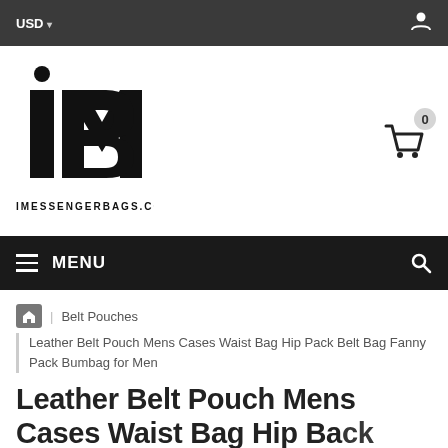USD ▾
[Figure (logo): iMessengerBags.com logo with stylized MB letters and dot above i]
MENU
Belt Pouches
Leather Belt Pouch Mens Cases Waist Bag Hip Pack Belt Bag Fanny Pack Bumbag for Men
Leather Belt Pouch Mens Cases Waist Bag Hip Pack Belt Bag Fanny Pack Bumbag for Men